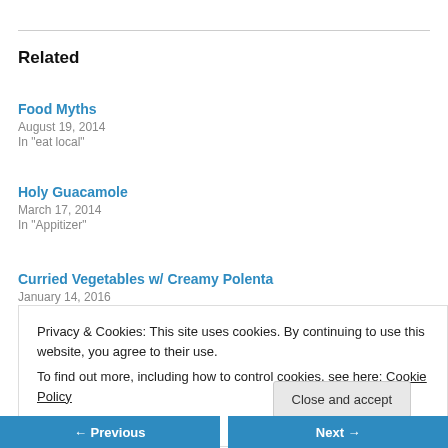Related
Food Myths
August 19, 2014
In "eat local"
Holy Guacamole
March 17, 2014
In "Appitizer"
Curried Vegetables w/ Creamy Polenta
January 14, 2016
In "..."
Privacy & Cookies: This site uses cookies. By continuing to use this website, you agree to their use.
To find out more, including how to control cookies, see here: Cookie Policy
Previous | Next